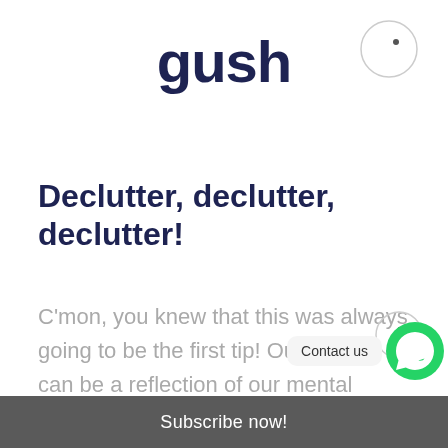gush
[Figure (illustration): Circle with a dot inside, decorative element in top right corner]
Declutter, declutter, declutter!
C'mon, you knew that this was always going to be the first tip! Our spaces can be a reflection of our mental state. Is your room unstructured and scattered? Do you feel the same? What is your desired s...?
[Figure (illustration): Scroll-to-top circular button with upward arrow]
[Figure (illustration): Contact us bubble and WhatsApp green button]
Subscribe now!